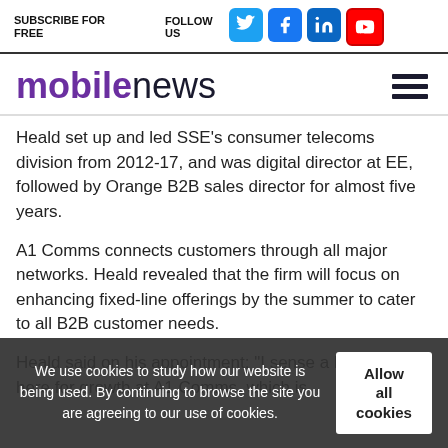SUBSCRIBE FOR FREE | FOLLOW US | [social icons: Twitter, Facebook, LinkedIn, YouTube]
[Figure (logo): mobilenews logo with hamburger menu icon]
Heald set up and led SSE's consumer telecoms division from 2012-17, and was digital director at EE, followed by Orange B2B sales director for almost five years.
A1 Comms connects customers through all major networks. Heald revealed that the firm will focus on enhancing fixed-line offerings by the summer to cater to all B2B customer needs.
Heald said on his appointment: “I sense a big appetite here for growth at A1 Comms, which is
We use cookies to study how our website is being used. By continuing to browse the site you are agreeing to our use of cookies.